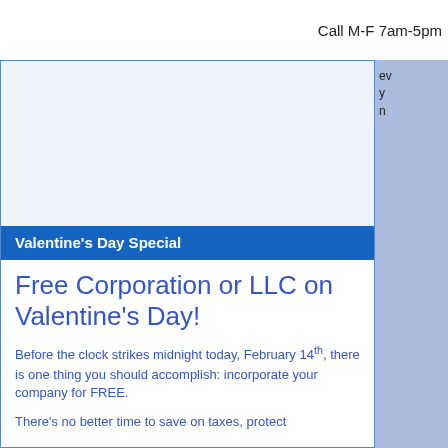Call M-F 7am-5pm
[Figure (other): White/light blue image placeholder area]
Valentine's Day Special
Free Corporation or LLC on Valentine's Day!
Before the clock strikes midnight today, February 14th, there is one thing you should accomplish: incorporate your company for FREE.
There's no better time to save on taxes, protect